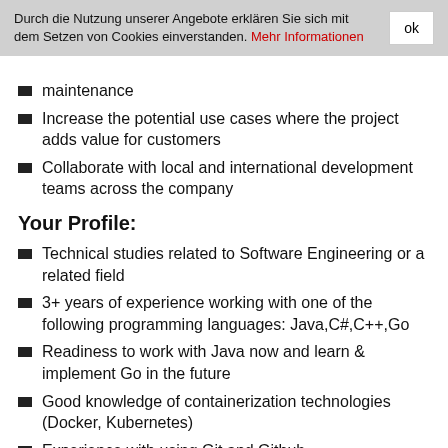Durch die Nutzung unserer Angebote erklären Sie sich mit dem Setzen von Cookies einverstanden. Mehr Informationen
maintenance
Increase the potential use cases where the project adds value for customers
Collaborate with local and international development teams across the company
Your Profile:
Technical studies related to Software Engineering or a related field
3+ years of experience working with one of the following programming languages: Java,C#,C++,Go
Readiness to work with Java now and learn & implement Go in the future
Good knowledge of containerization technologies (Docker, Kubernetes)
Experience with using Git and Github
Highly motivated and a great team player as well as